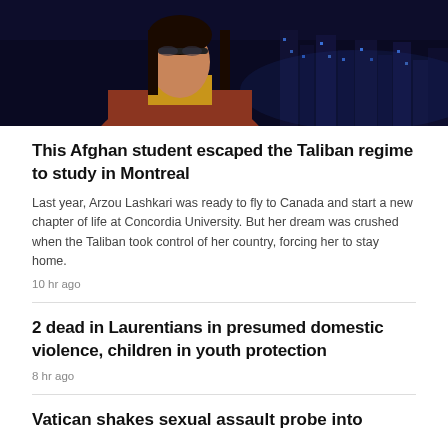[Figure (photo): Woman with long dark hair wearing a red/rust jacket and yellow turtleneck, standing against a night cityscape background with blue-lit skyscrapers.]
This Afghan student escaped the Taliban regime to study in Montreal
Last year, Arzou Lashkari was ready to fly to Canada and start a new chapter of life at Concordia University. But her dream was crushed when the Taliban took control of her country, forcing her to stay home.
10 hr ago
2 dead in Laurentians in presumed domestic violence, children in youth protection
8 hr ago
Vatican shakes sexual assault probe into